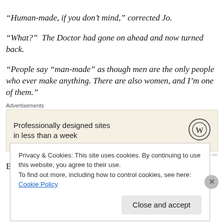“Human-made, if you don’t mind,” corrected Jo.
“What?”  The Doctor had gone on ahead and now turned back.
“People say “man-made” as though men are the only people who ever make anything. There are also women, and I’m one of them.”
[Figure (other): Advertisement box with WordPress logo. Text reads: Professionally designed sites in less than a week]
But Hulke gives the Doctor triumphant bits, too (in addition
Privacy & Cookies: This site uses cookies. By continuing to use this website, you agree to their use.
To find out more, including how to control cookies, see here: Cookie Policy